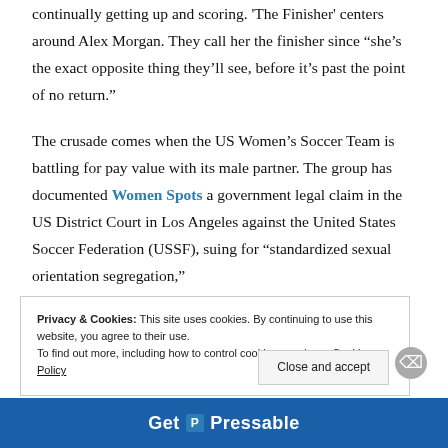continually getting up and scoring. 'The Finisher' centers around Alex Morgan. They call her the finisher since “she’s the exact opposite thing they’ll see, before it’s past the point of no return.”
The crusade comes when the US Women’s Soccer Team is battling for pay value with its male partner. The group has documented Women Spots a government legal claim in the US District Court in Los Angeles against the United States Soccer Federation (USSF), suing for “standardized sexual orientation segregation,”
Privacy & Cookies: This site uses cookies. By continuing to use this website, you agree to their use.
To find out more, including how to control cookies, see here: Cookie Policy
Close and accept
[Figure (screenshot): Pressable advertisement banner at the bottom of the page showing 'Get Pressable' in blue with a logo]